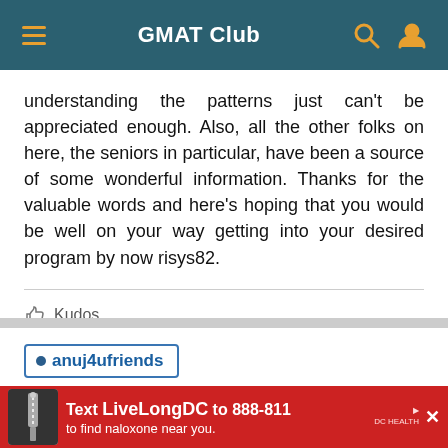GMAT Club
understanding the patterns just can't be appreciated enough. Also, all the other folks on here, the seniors in particular, have been a source of some wonderful information. Thanks for the valuable words and here's hoping that you would be well on your way getting into your desired program by now risys82.
Kudos
anuj4ufriends
Jan 8, 2013
[Figure (screenshot): Advertisement banner: Text LiveLongDC to 888-811 to find naloxone near you.]